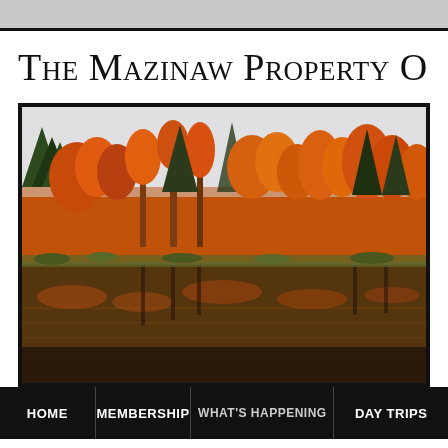The Mazinaw Property O
[Figure (photo): Autumn forest with orange and red foliage reflected in a calm lake, framed with a black border]
HOME | MEMBERSHIP | WHAT'S HAPPENING | DAY TRIPS